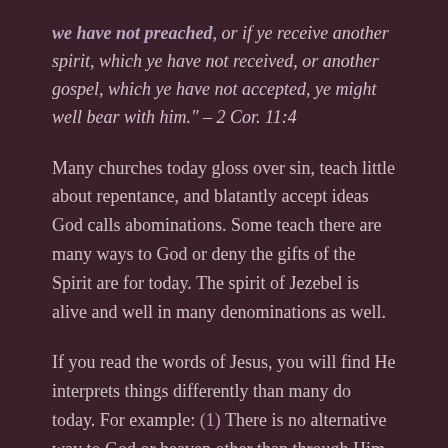we have not preached, or if ye receive another spirit, which ye have not received, or another gospel, which ye have not accepted, ye might well bear with him." – 2 Cor. 11:4
Many churches today gloss over sin, teach little about repentance, and blatantly accept ideas God calls abominations. Some teach there are many ways to God or deny the gifts of the Spirit are for today. The spirit of Jezebel is alive and well in many denominations as well.
If you read the words of Jesus, you will find He interprets things differently than many do today. For example: (1) There is no alternative way to God or heaven other than through Him (John 14:6), (2) It is not easy to become a true Christian but, difficult. Many are called but, few are chosen (Luke 13:23-24, Matt. 22:14)